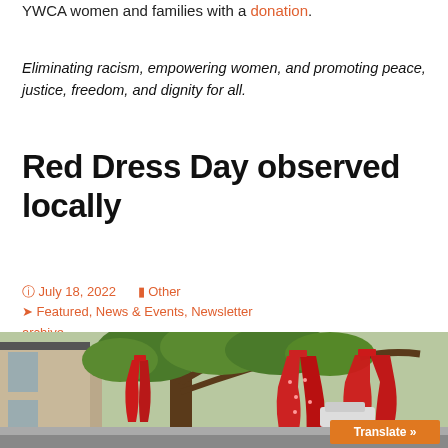YWCA women and families with a donation.
Eliminating racism, empowering women, and promoting peace, justice, freedom, and dignity for all.
Red Dress Day observed locally
July 18, 2022   Other   Featured, News & Events, Newsletter archive
[Figure (photo): Red dresses hanging from a large tree in front of a brick building, with green foliage and a street visible in the background. A 'Translate' button appears in the lower right corner.]